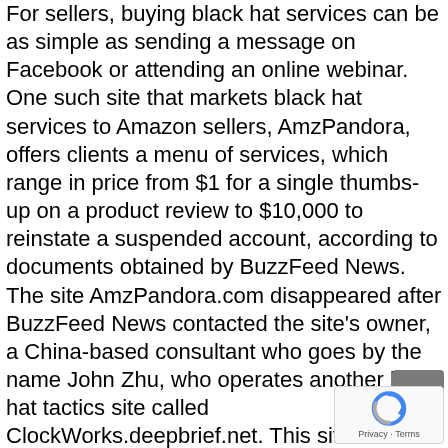For sellers, buying black hat services can be as simple as sending a message on Facebook or attending an online webinar.
One such site that markets black hat services to Amazon sellers, AmzPandora, offers clients a menu of services, which range in price from $1 for a single thumbs-up on a product review to $10,000 to reinstate a suspended account, according to documents obtained by BuzzFeed News. The site AmzPandora.com disappeared after BuzzFeed News contacted the site's owner, a China-based consultant who goes by the name John Zhu, who operates another black hat tactics site called ClockWorks.deepbrief.net. This site also went offline before publication.
AmzPandora's services ranged from small tasks ambitious strategies to rank a product higher using